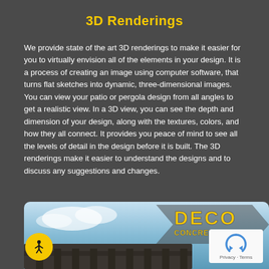3D Renderings
We provide state of the art 3D renderings to make it easier for you to virtually envision all of the elements in your design. It is a process of creating an image using computer software, that turns flat sketches into dynamic, three-dimensional images. You can view your patio or pergola design from all angles to get a realistic view. In a 3D view, you can see the depth and dimension of your design, along with the textures, colors, and how they all connect. It provides you peace of mind to see all the levels of detail in the design before it is built. The 3D renderings make it easier to understand the designs and to discuss any suggestions and changes.
[Figure (photo): Deco Concrete Inc. logo over a blue sky background with a dark roof/patio structure at the bottom]